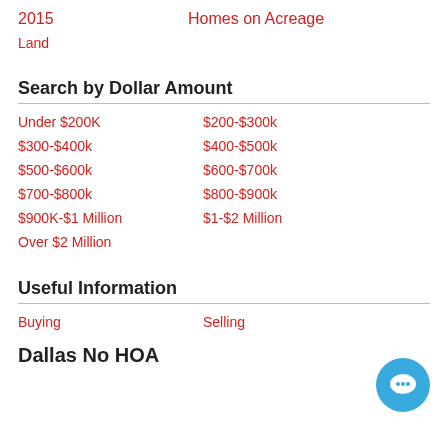2015    Homes on Acreage
Land
Search by Dollar Amount
Under $200K
$200-$300k
$300-$400k
$400-$500k
$500-$600k
$600-$700k
$700-$800k
$800-$900k
$900K-$1 Million
$1-$2 Million
Over $2 Million
Useful Information
Buying
Selling
Dallas No HOA